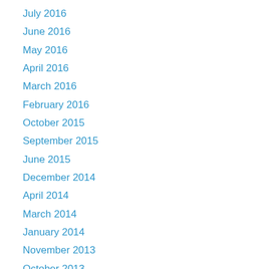July 2016
June 2016
May 2016
April 2016
March 2016
February 2016
October 2015
September 2015
June 2015
December 2014
April 2014
March 2014
January 2014
November 2013
October 2013
July 2013
June 2013
May 2013
April 2013
March 2013